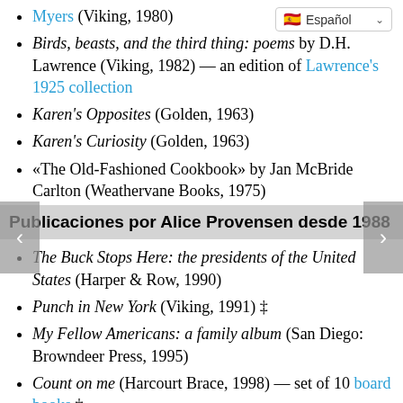Myers (Viking, 1980)
Birds, beasts, and the third thing: poems by D.H. Lawrence (Viking, 1982) — an edition of Lawrence's 1925 collection
Karen's Opposites (Golden, 1963)
Karen's Curiosity (Golden, 1963)
«The Old-Fashioned Cookbook» by Jan McBride Carlton (Weathervane Books, 1975)
Publicaciones por Alice Provensen desde 1988
The Buck Stops Here: the presidents of the United States (Harper & Row, 1990)
Punch in New York (Viking, 1991) ‡
My Fellow Americans: a family album (San Diego: Browndeer Press, 1995)
Count on me (Harcourt Brace, 1998) — set of 10 board books ‡
The Master Swordsman & The Magic